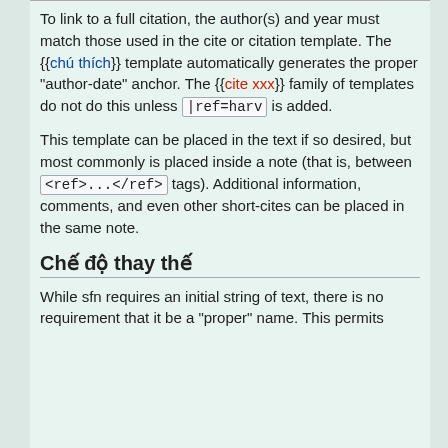To link to a full citation, the author(s) and year must match those used in the cite or citation template. The {{chú thích}} template automatically generates the proper "author-date" anchor. The {{cite xxx}} family of templates do not do this unless |ref=harv is added.
This template can be placed in the text if so desired, but most commonly is placed inside a note (that is, between <ref>...</ref> tags). Additional information, comments, and even other short-cites can be placed in the same note.
Chế độ thay thế
While sfn requires an initial string of text, there is no requirement that it be a "proper" name. This permits...